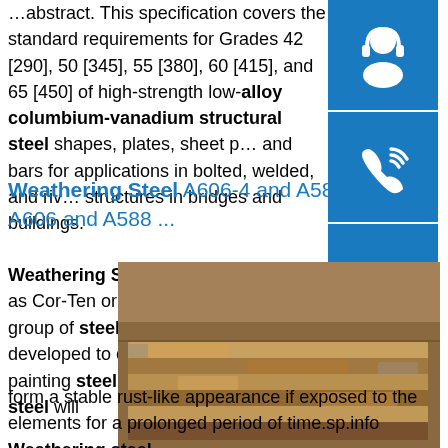...abstract. This specification covers the standard requirements for Grades 42 [290], 50 [345], 55 [380], 60 [415], and 65 [450] of high-strength low-alloy columbium-vanadium structural steel shapes, plates, sheet p... and bars for applications in bolted, welded, and riv... structures in bridges and buildings.
Weathering Steel A606-4 and A588. Co... A606 and A588 ...
Weathering Steel, often referred to as Cor-Ten or A606-4 / A588, is a group of steel alloys which were developed to eliminate the need for painting steel and to insure that the steel will form a stable rust-like appearance if exposed to the elements for a prolonged period of time.sp.info
Weathering steel - SteelConstruction.infoWeathering steel, which...
[Figure (photo): Stacked weathering steel plates showing rust-like orange and gray surface texture, stored outdoors.]
[Figure (other): Blue sidebar buttons with white icons: headset/support, phone, and Skype icons.]